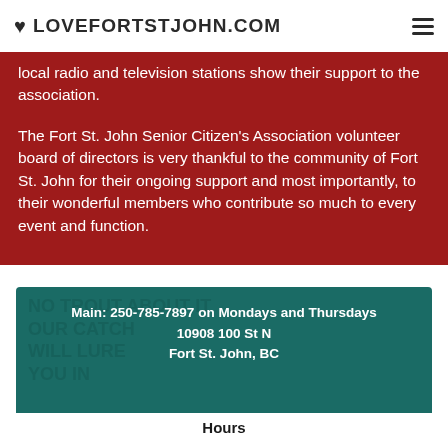LOVEFORTSTJOHN.COM
local radio and television stations show their support to the association.
The Fort St. John Senior Citizen's Association volunteer board of directors is very thankful to the community of Fort St. John for their ongoing support and most importantly, to their wonderful members who contribute so much to every event and function.
[Figure (photo): Teal/green background image with decorative fish-themed text reading 'NO TROUT ABOUT IT OUR CATCH WILL LURE YOU IN']
Main: 250-785-7897 on Mondays and Thursdays
10908 100 St N
Fort St. John, BC
Hours